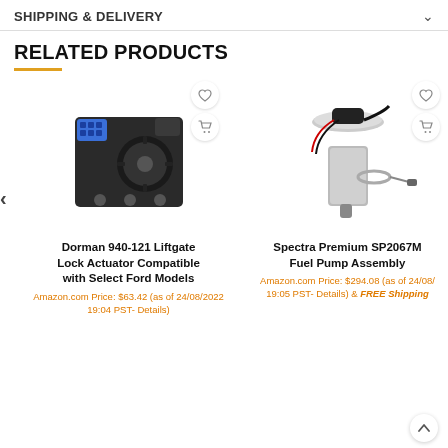SHIPPING & DELIVERY
RELATED PRODUCTS
[Figure (photo): Dorman 940-121 Liftgate Lock Actuator product photo with wishlist and cart icons]
Dorman 940-121 Liftgate Lock Actuator Compatible with Select Ford Models
Amazon.com Price: $63.42 (as of 24/08/2022 19:04 PST- Details)
[Figure (photo): Spectra Premium SP2067M Fuel Pump Assembly product photo with wishlist and cart icons]
Spectra Premium SP2067M Fuel Pump Assembly
Amazon.com Price: $294.08 (as of 24/08/2022 19:05 PST- Details) & FREE Shipping